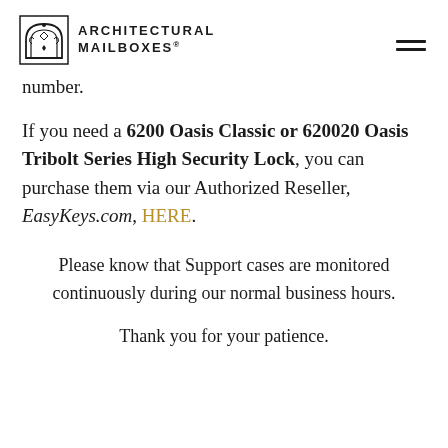ARCHITECTURAL MAILBOXES
number.
If you need a 6200 Oasis Classic or 620020 Oasis Tribolt Series High Security Lock, you can purchase them via our Authorized Reseller, EasyKeys.com, HERE.
Please know that Support cases are monitored continuously during our normal business hours.
Thank you for your patience.